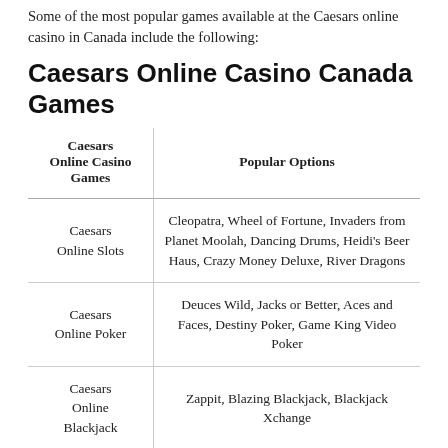Some of the most popular games available at the Caesars online casino in Canada include the following:
Caesars Online Casino Canada Games
| Caesars Online Casino Games | Popular Options |
| --- | --- |
| Caesars Online Slots | Cleopatra, Wheel of Fortune, Invaders from Planet Moolah, Dancing Drums, Heidi's Beer Haus, Crazy Money Deluxe, River Dragons |
| Caesars Online Poker | Deuces Wild, Jacks or Better, Aces and Faces, Destiny Poker, Game King Video Poker |
| Caesars Online Blackjack | Zappit, Blazing Blackjack, Blackjack Xchange |